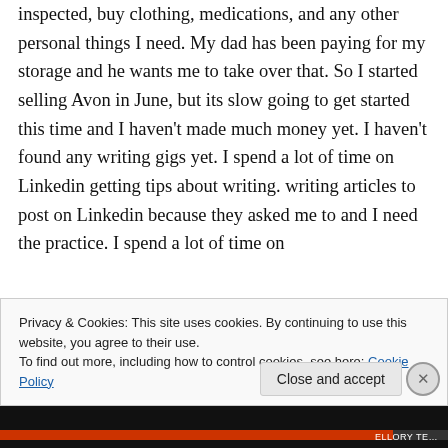inspected, buy clothing, medications, and any other personal things I need. My dad has been paying for my storage and he wants me to take over that. So I started selling Avon in June, but its slow going to get started this time and I haven't made much money yet. I haven't found any writing gigs yet. I spend a lot of time on Linkedin getting tips about writing. writing articles to post on Linkedin because they asked me to and I need the practice. I spend a lot of time on
Privacy & Cookies: This site uses cookies. By continuing to use this website, you agree to their use.
To find out more, including how to control cookies, see here: Cookie Policy
Close and accept